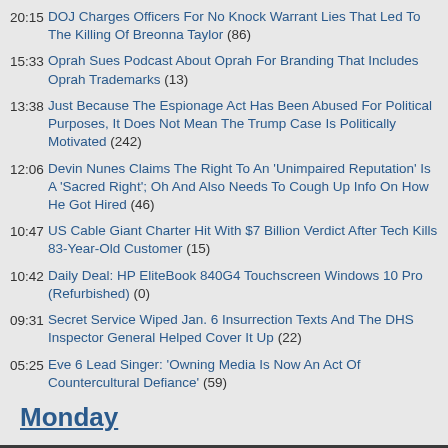20:15 DOJ Charges Officers For No Knock Warrant Lies That Led To The Killing Of Breonna Taylor (86)
15:33 Oprah Sues Podcast About Oprah For Branding That Includes Oprah Trademarks (13)
13:38 Just Because The Espionage Act Has Been Abused For Political Purposes, It Does Not Mean The Trump Case Is Politically Motivated (242)
12:06 Devin Nunes Claims The Right To An 'Unimpaired Reputation' Is A 'Sacred Right'; Oh And Also Needs To Cough Up Info On How He Got Hired (46)
10:47 US Cable Giant Charter Hit With $7 Billion Verdict After Tech Kills 83-Year-Old Customer (15)
10:42 Daily Deal: HP EliteBook 840G4 Touchscreen Windows 10 Pro (Refurbished) (0)
09:31 Secret Service Wiped Jan. 6 Insurrection Texts And The DHS Inspector General Helped Cover It Up (22)
05:25 Eve 6 Lead Singer: 'Owning Media Is Now An Act Of Countercultural Defiance' (59)
Monday
This site, like most other sites on the web, uses cookies. For more information, see our privacy policy
GOT IT